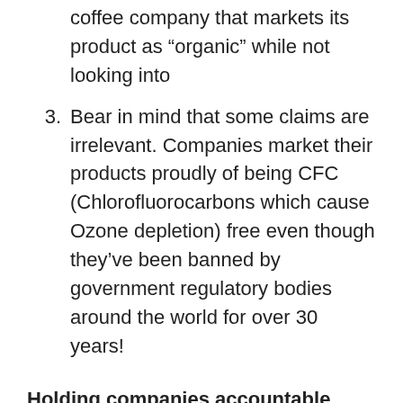coffee company that markets its product as “organic” while not looking into
3. Bear in mind that some claims are irrelevant. Companies market their products proudly of being CFC (Chlorofluorocarbons which cause Ozone depletion) free even though they’ve been banned by government regulatory bodies around the world for over 30 years!
Holding companies accountable
Some good news! With the popularity of sustainability measures around the